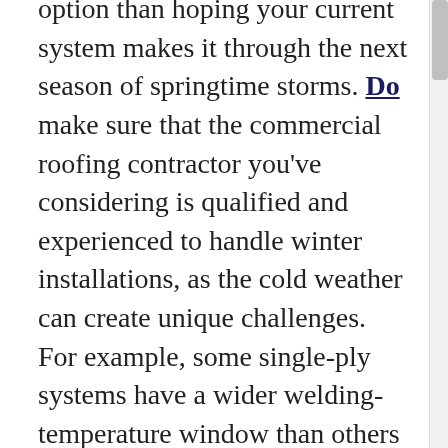option than hoping your current system makes it through the next season of springtime storms. Do make sure that the commercial roofing contractor you've considering is qualified and experienced to handle winter installations, as the cold weather can create unique challenges. For example, some single-ply systems have a wider welding-temperature window than others and can be seamed effectively on the rooftop, even in very cold conditions.
Don't think that being on the roof in the winter is the same as during other times of the year. Some systems – PVC and TPO in particular – can be extremely slippery when